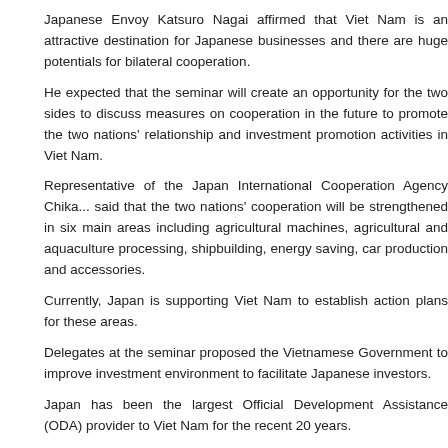Japanese Envoy Katsuro Nagai affirmed that Viet Nam is an attractive destination for Japanese businesses and there are huge potentials for bilateral cooperation.
He expected that the seminar will create an opportunity for the two sides to discuss measures on cooperation in the future to promote the two nations' relationship and investment promotion activities in Viet Nam.
Representative of the Japan International Cooperation Agency Chika... said that the two nations' cooperation will be strengthened in six main areas including agricultural machines, agricultural and aquaculture processing, shipbuilding, energy saving, car production and accessories.
Currently, Japan is supporting Viet Nam to establish action plans for these areas.
Delegates at the seminar proposed the Vietnamese Government to improve investment environment to facilitate Japanese investors.
Japan has been the largest Official Development Assistance (ODA) provider to Viet Nam for the recent 20 years.
Japan ranked second and fourth among the largest investors and trade partners. As many as 1,400 Japanese businesses are operating in Viet Nam, contributing to the country's socio-economic development.
Related items